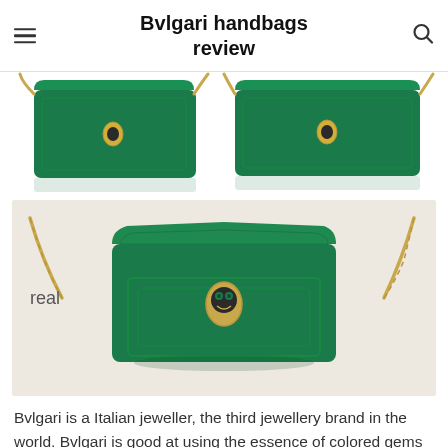Bvlgari handbags review
[Figure (photo): Two green Bvlgari handbags shown from slightly different angles with gold chain straps, cropped at the top of the page]
[Figure (photo): A green Bvlgari Serpenti Forever crossbody bag with gold chain strap and snake head clasp, labeled 'real', displayed on a beige/cream background]
Bvlgari is a Italian jeweller, the third jewellery brand in the world. Bvlgari is good at using the essence of colored gems to stand out charm of jewellery. Inspired by Roman culture, Greek elegance and Italian Renaissance, Bvlgari created